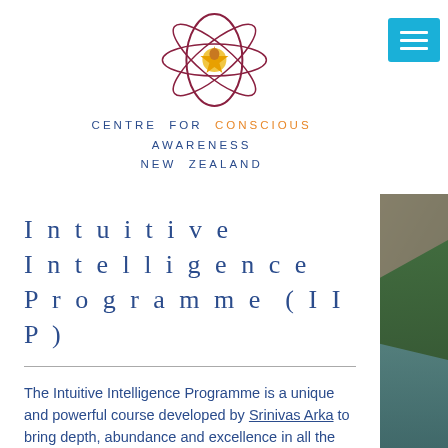[Figure (logo): Symbol/logo with oval, star shape, and rings - Centre for Conscious Awareness New Zealand]
CENTRE FOR CONSCIOUS AWARENESS NEW ZEALAND
[Figure (screenshot): Background photo of mountains, lake and forest landscape in New Zealand]
Intuitive Intelligence Programme (IIP)
The Intuitive Intelligence Programme is a unique and powerful course developed by Srinivas Arka to bring depth, abundance and excellence in all the major aspects of one's life. It can have a profound and life-